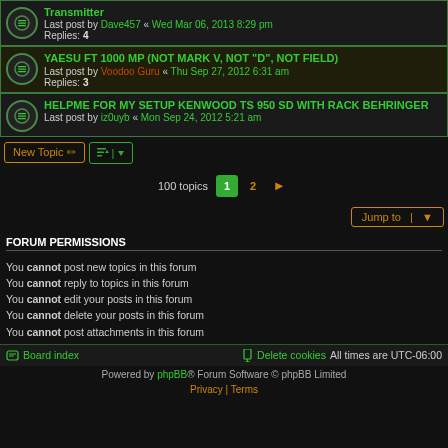Transmitter — Last post by Dave457 « Wed Mar 06, 2013 8:29 pm — Replies: 4
YAESU FT 1000 MP (NOT MARK V, NOT "D", NOT FIELD) — Last post by Voodoo Guru « Thu Sep 27, 2012 6:31 am — Replies: 3
HELPME FOR MY SETUP KENWOOD TS 950 SD WITH RACK BEHRINGER — Last post by iz0uyb « Mon Sep 24, 2012 5:21 am
100 topics  1  2  >
Jump to
FORUM PERMISSIONS
You cannot post new topics in this forum
You cannot reply to topics in this forum
You cannot edit your posts in this forum
You cannot delete your posts in this forum
You cannot post attachments in this forum
Board index   Delete cookies   All times are UTC-06:00
Powered by phpBB® Forum Software © phpBB Limited
Privacy | Terms